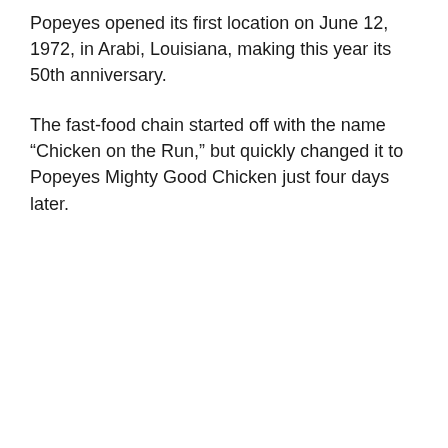Popeyes opened its first location on June 12, 1972, in Arabi, Louisiana, making this year its 50th anniversary.
The fast-food chain started off with the name “Chicken on the Run,” but quickly changed it to Popeyes Mighty Good Chicken just four days later.